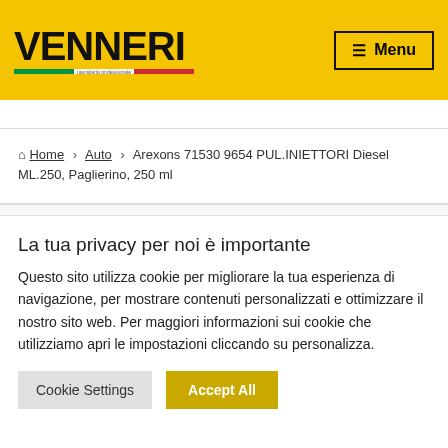[Figure (logo): Venneri logo with Italian flag colors and text on yellow background]
≡ Menu
🏠 Home › Auto › Arexons 71530 9654 PUL.INIETTORI Diesel ML.250, Paglierino, 250 ml
La tua privacy per noi è importante
Questo sito utilizza cookie per migliorare la tua esperienza di navigazione, per mostrare contenuti personalizzati e ottimizzare il nostro sito web. Per maggiori informazioni sui cookie che utilizziamo apri le impostazioni cliccando su personalizza.
Cookie Settings | Accept All